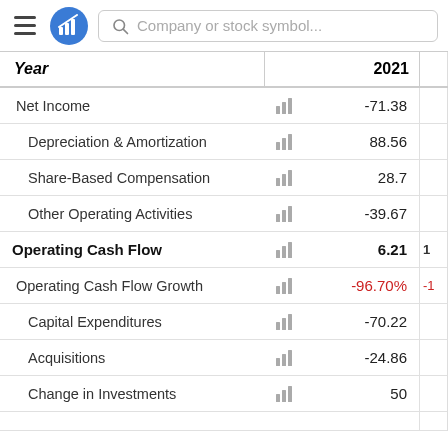Company or stock symbol...
| Year |  | 2021 |  |
| --- | --- | --- | --- |
| Net Income | [chart] | -71.38 |  |
| Depreciation & Amortization | [chart] | 88.56 |  |
| Share-Based Compensation | [chart] | 28.7 |  |
| Other Operating Activities | [chart] | -39.67 |  |
| Operating Cash Flow | [chart] | 6.21 | 1 |
| Operating Cash Flow Growth | [chart] | -96.70% | -1 |
| Capital Expenditures | [chart] | -70.22 |  |
| Acquisitions | [chart] | -24.86 |  |
| Change in Investments | [chart] | 50 |  |